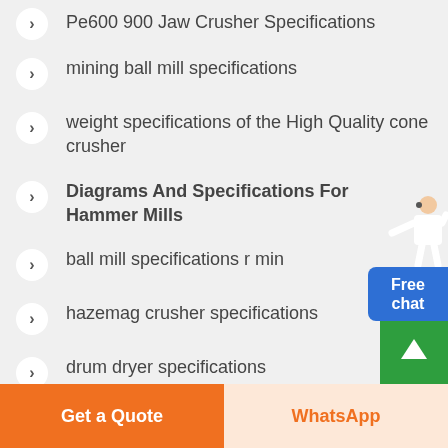Pe600 900 Jaw Crusher Specifications
mining ball mill specifications
weight specifications of the High Quality cone crusher
Diagrams And Specifications For Hammer Mills
ball mill specifications r min
hazemag crusher specifications
drum dryer specifications
Free chat
Get a Quote | WhatsApp